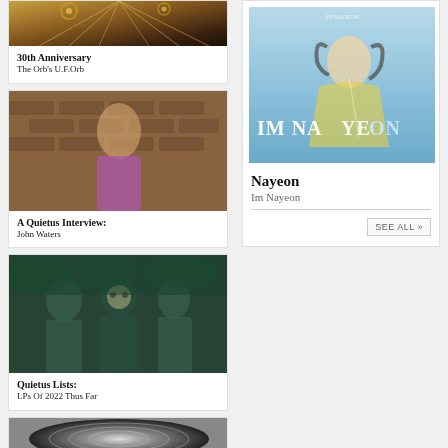[Figure (photo): 30th Anniversary – The Orb's U.F.Orb album cover with decorative elements]
30th Anniversary
The Orb's U.F.Orb
[Figure (photo): John Waters in colorful floral blazer standing against brick wall]
A Quietus Interview:
John Waters
[Figure (photo): Black and white/tinted group photo with masked figures for Quietus Lists: LPs Of 2022 Thus Far]
Quietus Lists:
LPs Of 2022 Thus Far
[Figure (photo): Spiral/concentric circles abstract image]
[Figure (photo): Nayeon – Im Nayeon album cover, singer in yellow dress on blue sky background]
Nayeon
Im Nayeon